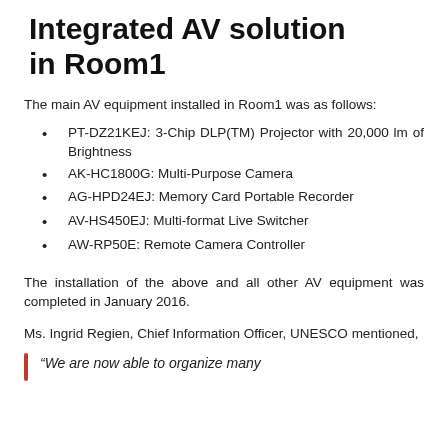Integrated AV solution in Room1
The main AV equipment installed in Room1 was as follows:
PT-DZ21KEJ: 3-Chip DLP(TM) Projector with 20,000 lm of Brightness
AK-HC1800G: Multi-Purpose Camera
AG-HPD24EJ: Memory Card Portable Recorder
AV-HS450EJ: Multi-format Live Switcher
AW-RP50E: Remote Camera Controller
The installation of the above and all other AV equipment was completed in January 2016.
Ms. Ingrid Regien, Chief Information Officer, UNESCO mentioned,
“We are now able to organize many